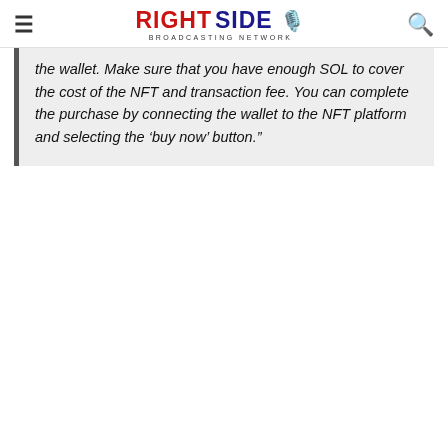Right Side Broadcasting Network
the wallet. Make sure that you have enough SOL to cover the cost of the NFT and transaction fee. You can complete the purchase by connecting the wallet to the NFT platform and selecting the ‘buy now’ button.”